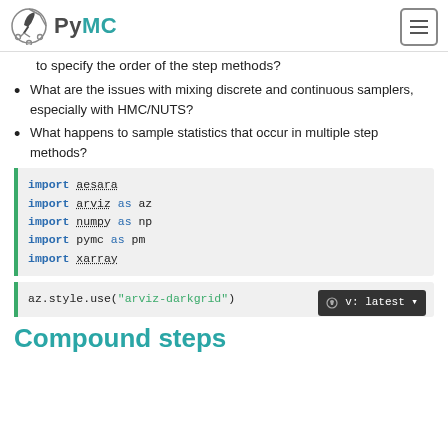PyMC
to specify the order of the step methods?
What are the issues with mixing discrete and continuous samplers, especially with HMC/NUTS?
What happens to sample statistics that occur in multiple step methods?
import aesara
import arviz as az
import numpy as np
import pymc as pm
import xarray
az.style.use("arviz-darkgrid")
Compound steps